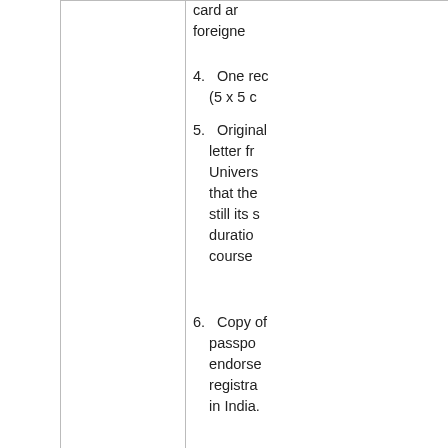card and foreign
4. One rec (5 x 5 c
5. Original letter fr Univers that the still its s duratio course
6. Copy of passpo endorse registra in India.
7. Copy of
Student Visa (Intern)
1. Visa Ap column duly sig photog